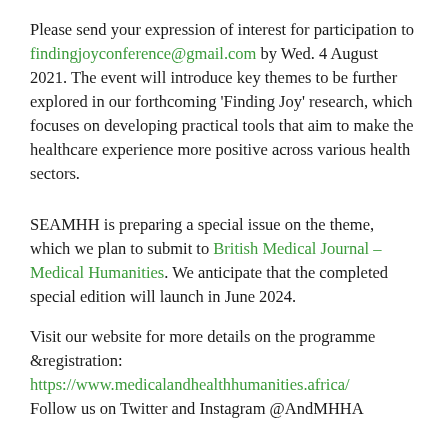Please send your expression of interest for participation to findingjoyconference@gmail.com by Wed. 4 August 2021. The event will introduce key themes to be further explored in our forthcoming 'Finding Joy' research, which focuses on developing practical tools that aim to make the healthcare experience more positive across various health sectors.
SEAMHH is preparing a special issue on the theme, which we plan to submit to British Medical Journal – Medical Humanities. We anticipate that the completed special edition will launch in June 2024.
Visit our website for more details on the programme &registration: https://www.medicalandhealthhumanities.africa/ Follow us on Twitter and Instagram @AndMHHA